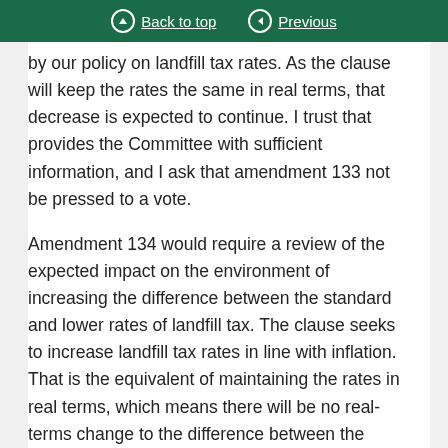Back to top | Previous
by our policy on landfill tax rates. As the clause will keep the rates the same in real terms, that decrease is expected to continue. I trust that provides the Committee with sufficient information, and I ask that amendment 133 not be pressed to a vote.
Amendment 134 would require a review of the expected impact on the environment of increasing the difference between the standard and lower rates of landfill tax. The clause seeks to increase landfill tax rates in line with inflation. That is the equivalent of maintaining the rates in real terms, which means there will be no real-terms change to the difference between the standard and lower rates. Although we appreciate there may be concerns about illegal dumping or breaking of the rules, we do not